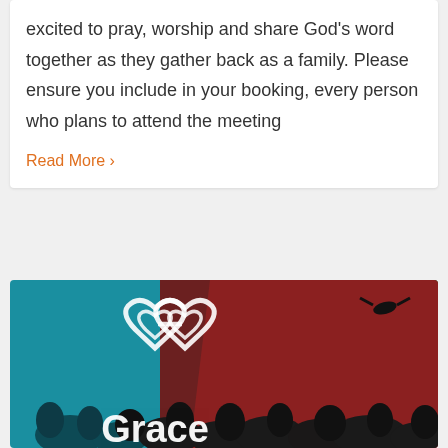excited to pray, worship and share God's word together as they gather back as a family. Please ensure you include in your booking, every person who plans to attend the meeting
Read More ›
[Figure (photo): Grace church promotional image showing a crowd of people silhouetted against teal, red and green lighting, with a white interlocking heart/chain logo and the word 'Grace' in white text at the bottom.]